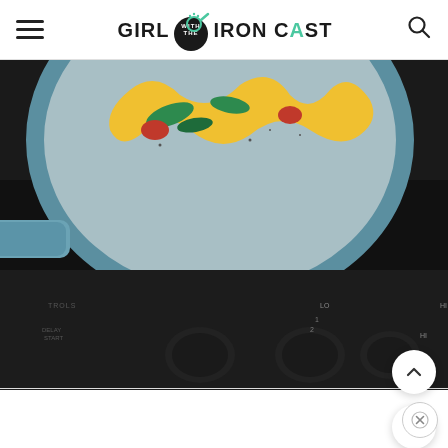Girl With The Iron Cast - navigation header with hamburger menu and search icon
[Figure (photo): A blue cast iron pan/skillet on a black electric stove with food (appears to be an egg dish with greens and tomatoes) cooking inside it. The stove controls are visible including knobs and a digital display showing '88'.]
[Figure (other): Floating action buttons: up arrow button, heart/favorite button, and search button on the right side of the page]
[Figure (other): Close (X) button in bottom right corner]